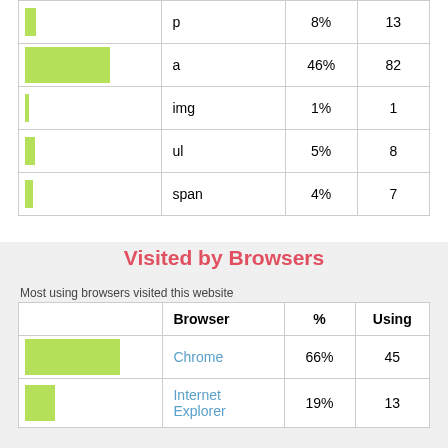|  |  | % | Using |
| --- | --- | --- | --- |
| [bar] | p | 8% | 13 |
| [bar] | a | 46% | 82 |
| [bar] | img | 1% | 1 |
| [bar] | ul | 5% | 8 |
| [bar] | span | 4% | 7 |
Visited by Browsers
Most using browsers visited this website
|  | Browser | % | Using |
| --- | --- | --- | --- |
| [bar] | Chrome | 66% | 45 |
| [bar] | Internet Explorer | 19% | 13 |